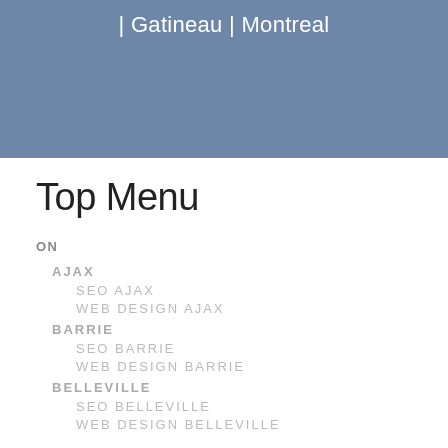| Gatineau | Montreal
Top Menu
ON
AJAX
SEO AJAX
WEB DESIGN AJAX
BARRIE
SEO BARRIE
WEB DESIGN BARRIE
BELLEVILLE
SEO BELLEVILLE
WEB DESIGN BELLEVILLE